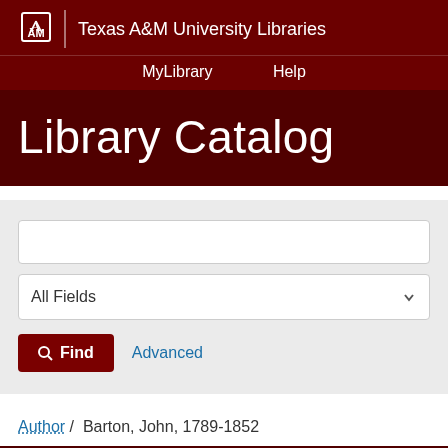Texas A&M University Libraries
MyLibrary   Help
Library Catalog
All Fields
Find   Advanced
Author / Barton, John, 1789-1852